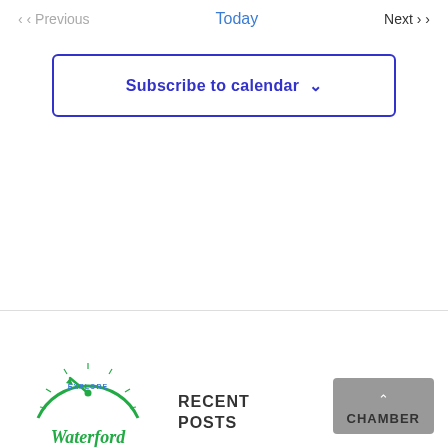< < Previous   Today   Next > >
Subscribe to calendar ˅
[Figure (logo): Explore Waterford compass logo in green and blue with italic cursive text 'Waterford']
RECENT POSTS
CHAMBER